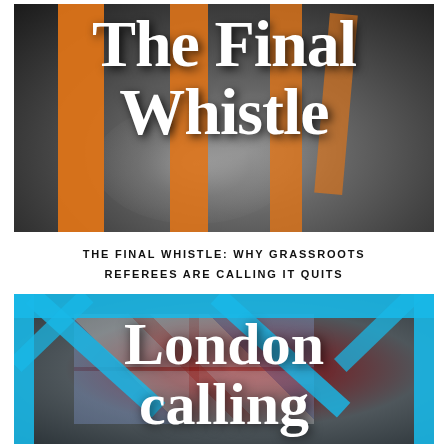[Figure (illustration): Book cover for 'The Final Whistle' showing large bold white serif text on a dark background with orange vertical bars overlaid, depicting a blurred black and white scene]
THE FINAL WHISTLE: WHY GRASSROOTS REFEREES ARE CALLING IT QUITS
[Figure (illustration): Book cover for 'London calling' showing large white serif text on a background with cyan/teal geometric bar overlays and a blurred Union Jack flag visible behind]